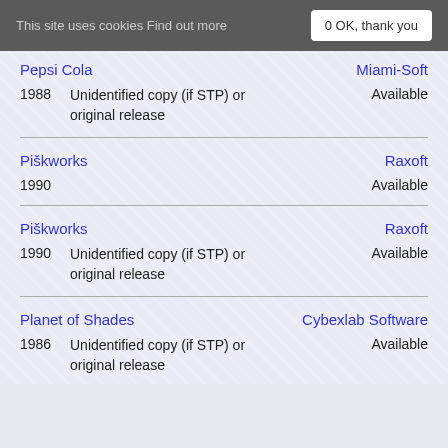This site uses cookies Find out more   0 OK, thank you
Pepsi Cola   Miami-Soft
1988   Unidentified copy (if STP) or original release   Available
Piškworks   Raxoft
1990   Available
Piškworks   Raxoft
1990   Unidentified copy (if STP) or original release   Available
Planet of Shades   Cybexlab Software
1986   Unidentified copy (if STP) or original release